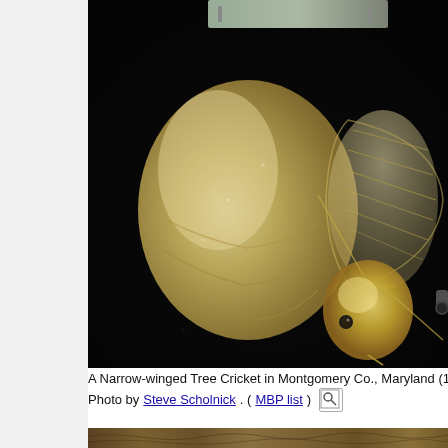[Figure (photo): Close-up macro photograph of a Narrow-winged Tree Cricket (pale yellowish-cream colored insect with translucent wings visible) against a dark/black background, showing detailed body structure]
A Narrow-winged Tree Cricket in Montgomery Co., Maryland (11/1/20... Photo by Steve Scholnick. (MBP list)
[Figure (photo): Partial view of a second photograph showing what appears to be bark or wood texture in brown tones, visible at the bottom of the page]